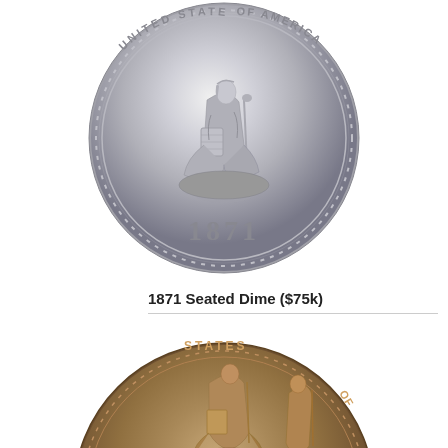[Figure (photo): 1871 Seated Liberty Dime coin obverse showing seated Liberty figure with 'UNITED STATES OF AMERICA' inscription and date 1871, silver coin with high relief detail]
1871 Seated Dime ($75k)
[Figure (photo): Second coin photo showing partial view of another Seated Liberty Dime, darker patina, with partial 'STATES' inscription visible and seated Liberty figure]